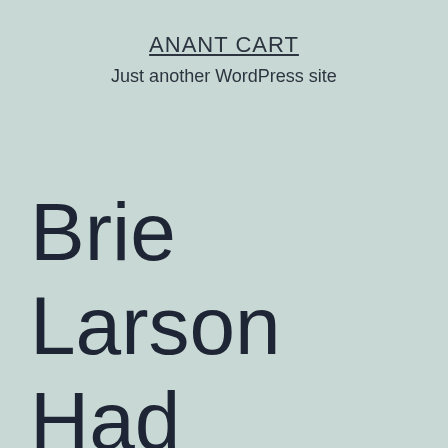ANANT CART
Just another WordPress site
Brie Larson Had Remaining The girl